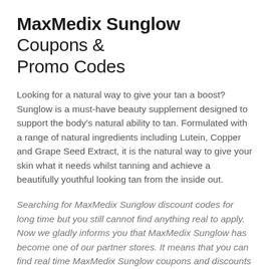MaxMedix Sunglow Coupons & Promo Codes
Looking for a natural way to give your tan a boost? Sunglow is a must-have beauty supplement designed to support the body's natural ability to tan. Formulated with a range of natural ingredients including Lutein, Copper and Grape Seed Extract, it is the natural way to give your skin what it needs whilst tanning and achieve a beautifully youthful looking tan from the inside out.
Searching for MaxMedix Sunglow discount codes for long time but you still cannot find anything real to apply. Now we gladly informs you that MaxMedix Sunglow has become one of our partner stores. It means that you can find real time MaxMedix Sunglow coupons and discounts to save your money through some simple steps.